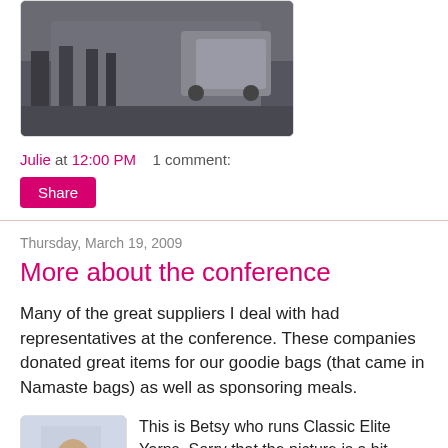[Figure (photo): Outdoor street scene with people walking and cars parked, appears to be near a conference venue.]
Julie at 12:00 PM    1 comment:
Share
Thursday, March 19, 2009
More about the conference
Many of the great suppliers I deal with had representatives at the conference. These companies donated great items for our goodie bags (that came in Namaste bags) as well as sponsoring meals.
[Figure (photo): Person standing indoors, appears to be Betsy from Classic Elite Yarns wearing a scarf.]
This is Betsy who runs Classic Elite Yarns. Sorry that the picture is a bit fuzzy-damn iPhone. She is wearing a scarf knit in Classic Elite's Silky Alpaca Lace (our stock is arriving tomorrow). The pattern is from the